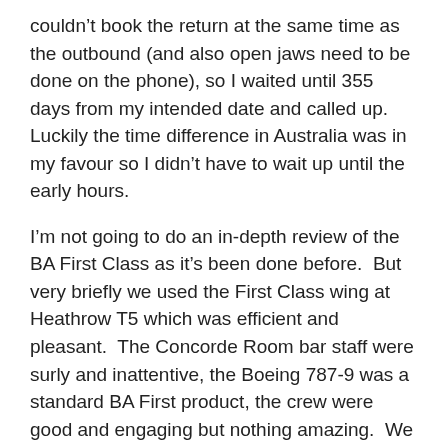couldn't book the return at the same time as the outbound (and also open jaws need to be done on the phone), so I waited until 355 days from my intended date and called up.  Luckily the time difference in Australia was in my favour so I didn't have to wait up until the early hours.
I'm not going to do an in-depth review of the BA First Class as it's been done before.  But very briefly we used the First Class wing at Heathrow T5 which was efficient and pleasant.  The Concorde Room bar staff were surly and inattentive, the Boeing 787-9 was a standard BA First product, the crew were good and engaging but nothing amazing.  We landed in Kuala Lumpur ten minutes early.